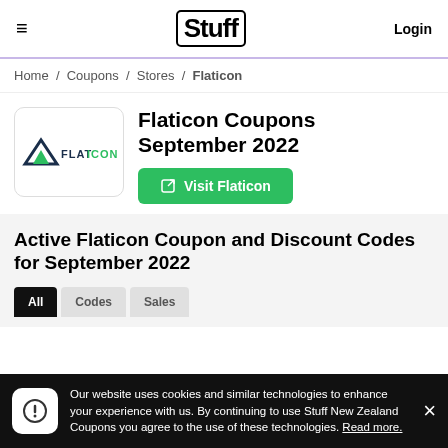Stuff — Login
Home / Coupons / Stores / Flaticon
Flaticon Coupons September 2022
Visit Flaticon
Active Flaticon Coupon and Discount Codes for September 2022
Our website uses cookies and similar technologies to enhance your experience with us. By continuing to use Stuff New Zealand Coupons you agree to the use of these technologies. Read more.